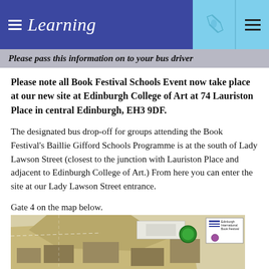Learning
Please pass this information on to your bus driver
Please note all Book Festival Schools Event now take place at our new site at Edinburgh College of Art at 74 Lauriston Place in central Edinburgh, EH3 9DF.
The designated bus drop-off for groups attending the Book Festival's Baillie Gifford Schools Programme is at the south of Lady Lawson Street (closest to the junction with Lauriston Place and adjacent to Edinburgh College of Art.) From here you can enter the site at our Lady Lawson Street entrance.
Gate 4 on the map below.
[Figure (map): A partial map of the Edinburgh College of Art site showing roads, buildings, and a green circle marker, with an Edinburgh International Book Festival logo/legend in the top-right corner.]